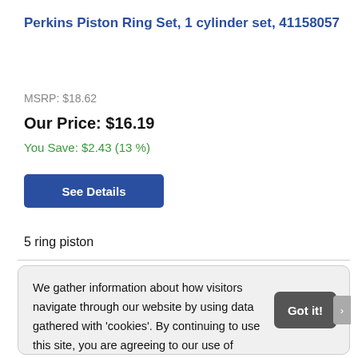Perkins Piston Ring Set, 1 cylinder set, 41158057
MSRP: $18.62
Our Price: $16.19
You Save: $2.43 (13 %)
See Details
5 ring piston
We gather information about how visitors navigate through our website by using data gathered with 'cookies'. By continuing to use this site, you are agreeing to our use of cookies.
Learn more
Got it!